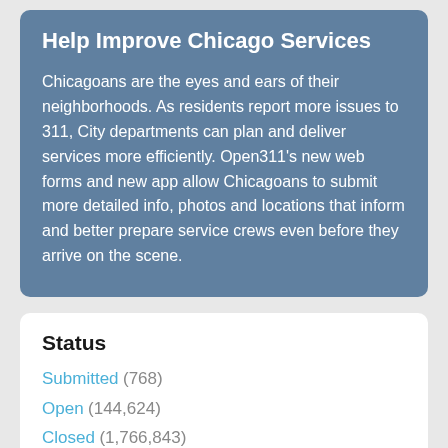Help Improve Chicago Services
Chicagoans are the eyes and ears of their neighborhoods. As residents report more issues to 311, City departments can plan and deliver services more efficiently. Open311's new web forms and new app allow Chicagoans to submit more detailed info, photos and locations that inform and better prepare service crews even before they arrive on the scene.
Status
Submitted (768)
Open (144,624)
Closed (1,766,843)
Services
Graffiti Removal Request (190,771)